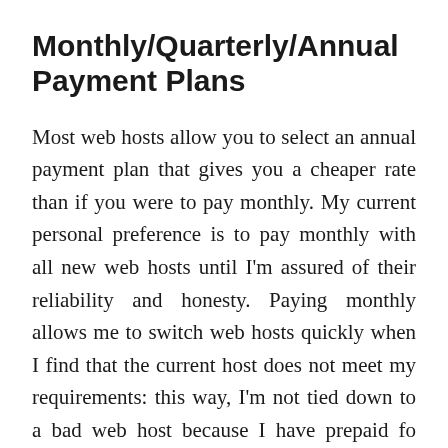Monthly/Quarterly/Annual Payment Plans
Most web hosts allow you to select an annual payment plan that gives you a cheaper rate than if you were to pay monthly. My current personal preference is to pay monthly with all new web hosts until I'm assured of their reliability and honesty. Paying monthly allows me to switch web hosts quickly when I find that the current host does not meet my requirements: this way, I'm not tied down to a bad web host because I have prepaid for an entire year. I do this even if the new web host guarantees that they will refund the balance if I'm dissatisfied, since at the point I sign up